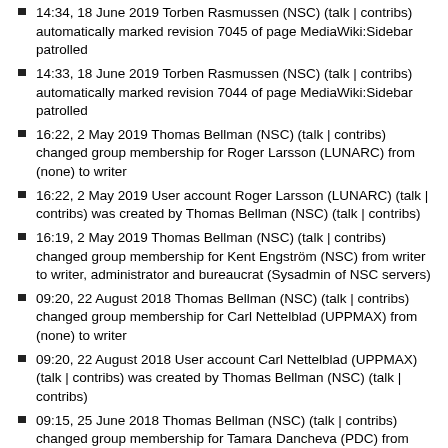14:34, 18 June 2019 Torben Rasmussen (NSC) (talk | contribs) automatically marked revision 7045 of page MediaWiki:Sidebar patrolled
14:33, 18 June 2019 Torben Rasmussen (NSC) (talk | contribs) automatically marked revision 7044 of page MediaWiki:Sidebar patrolled
16:22, 2 May 2019 Thomas Bellman (NSC) (talk | contribs) changed group membership for Roger Larsson (LUNARC) from (none) to writer
16:22, 2 May 2019 User account Roger Larsson (LUNARC) (talk | contribs) was created by Thomas Bellman (NSC) (talk | contribs)
16:19, 2 May 2019 Thomas Bellman (NSC) (talk | contribs) changed group membership for Kent Engström (NSC) from writer to writer, administrator and bureaucrat (Sysadmin of NSC servers)
09:20, 22 August 2018 Thomas Bellman (NSC) (talk | contribs) changed group membership for Carl Nettelblad (UPPMAX) from (none) to writer
09:20, 22 August 2018 User account Carl Nettelblad (UPPMAX) (talk | contribs) was created by Thomas Bellman (NSC) (talk | contribs)
09:15, 25 June 2018 Thomas Bellman (NSC) (talk | contribs) changed group membership for Tamara Dancheva (PDC) from (none) to writer